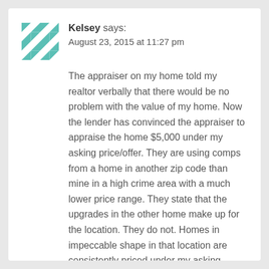Kelsey says:
August 23, 2015 at 11:27 pm
The appraiser on my home told my realtor verbally that there would be no problem with the value of my home. Now the lender has convinced the appraiser to appraise the home $5,000 under my asking price/offer. They are using comps from a home in another zip code than mine in a high crime area with a much lower price range. They state that the upgrades in the other home make up for the location. They do not. Homes in impeccable shape in that location are consistently priced under my asking price. What recourse do I have with what I feel is an unfair comp being used?